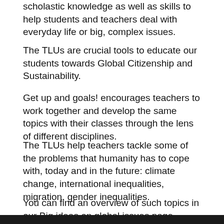scholastic knowledge as well as skills to help students and teachers deal with everyday life or big, complex issues.
The TLUs are crucial tools to educate our students towards Global Citizenship and Sustainability.
Get up and goals! encourages teachers to work together and develop the same topics with their classes through the lens of different disciplines.
The TLUs help teachers tackle some of the problems that humanity has to cope with, today and in the future: climate change, international inequalities, migration, gender inequalities.
You can find an overview of such topics in our Big ideas on global issues page.